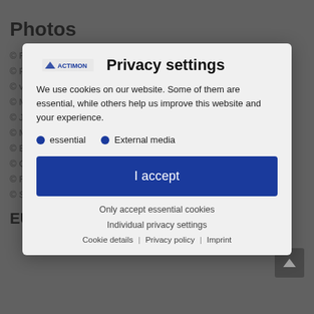Photos
© Robert Knesol...
© Pa...
© vi...
© Maxim Kalmyko...
© Jon... Volimer – fotolia.com
© Manfred Steinbach – shutterstock.com
© Baloncici – shutte...
© Catalin Stefan – fotolio...
© Rainer – fotolia.com
© Simon Coste – fotolia.com
EU dispute settlement
[Figure (screenshot): Privacy settings modal dialog overlay with Actimon logo, cookie consent options (essential, External media), I accept button, Only accept essential cookies link, Individual privacy settings link, and Cookie details | Privacy policy | Imprint footer links.]